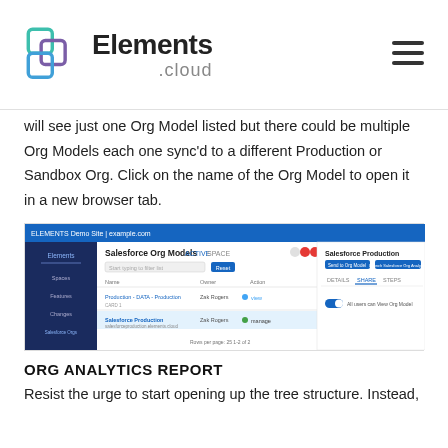Elements .cloud
will see just one Org Model listed but there could be multiple Org Models each one sync'd to a different Production or Sandbox Org. Click on the name of the Org Model to open it in a new browser tab.
[Figure (screenshot): Screenshot of Elements.cloud Salesforce Org Models page showing a list with two entries: 'Production - DATA - Production' and 'Salesforce Production', each with owner 'Zak Rogers' and actions 'view' and 'manage'. A side panel shows 'Salesforce Production' with tabs for DETAILS, SHARE, STEPS and a toggle 'All users can View Org Model'.]
ORG ANALYTICS REPORT
Resist the urge to start opening up the tree structure. Instead,